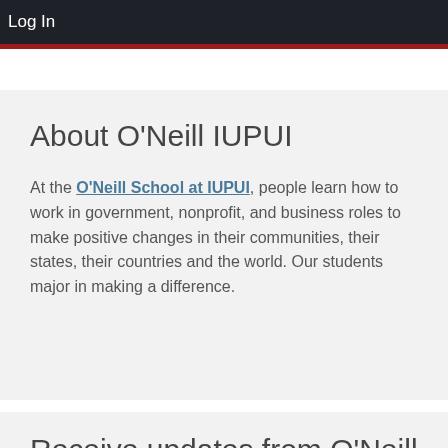Log In
About O'Neill IUPUI
At the O'Neill School at IUPUI, people learn how to work in government, nonprofit, and business roles to make positive changes in their communities, their states, their countries and the world. Our students major in making a difference.
Receive updates from O'Neill IUPUI